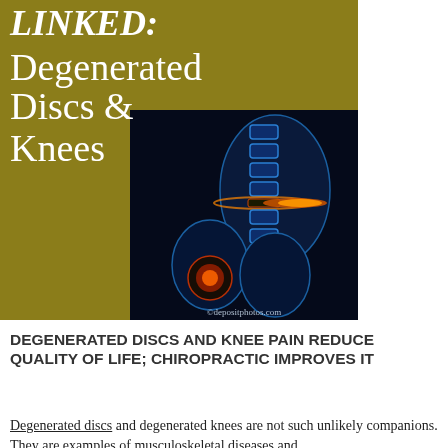[Figure (illustration): Composite image with olive/gold background on the left showing large white italic text 'LINKED: Degenerated Discs & Knees', overlaid on the right with a blue-toned medical illustration of the human spine and knee joint with glowing orange/red pain indicators at the disc and knee areas. Watermark reads ©depositphotos.com]
DEGENERATED DISCS AND KNEE PAIN REDUCE QUALITY OF LIFE; CHIROPRACTIC IMPROVES IT
Degenerated discs and degenerated knees are not such unlikely companions. They are examples of musculoskeletal diseases and